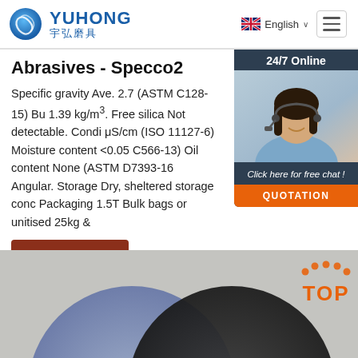YUHONG 宇弘磨具 — English navigation header
Abrasives - Specco2
Specific gravity Ave. 2.7 (ASTM C128-15) Bu 1.39 kg/m³. Free silica Not detectable. Condi μS/cm (ISO 11127-6) Moisture content <0.05 C566-13) Oil content None (ASTM D7393-16 Angular. Storage Dry, sheltered storage conc Packaging 1.5T Bulk bags or unitised 25kg &
[Figure (photo): Customer service representative woman with headset, used in 24/7 online chat widget with dark blue background, 'Click here for free chat!' text and orange QUOTATION button]
[Figure (photo): Bottom product image showing abrasive discs on grey background with TOP logo badge in orange on right side]